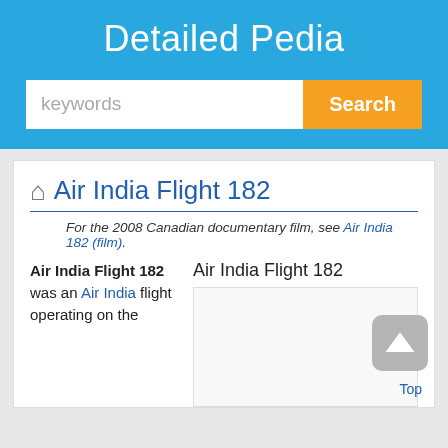Detailed Pedia
keywords Search
Air India Flight 182
For the 2008 Canadian documentary film, see Air India 182 (film).
Air India Flight 182 was an Air India flight operating on the
Air India Flight 182
[Figure (other): Infobox image placeholder for Air India Flight 182]